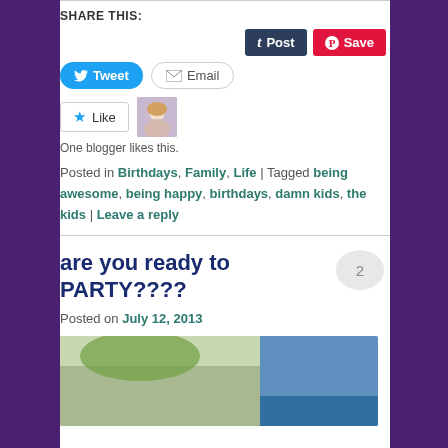SHARE THIS:
[Figure (screenshot): Social share buttons: Tumblr Post, Pinterest Save, Twitter Tweet, Email]
[Figure (screenshot): Like button with star icon and blogger avatar photo]
One blogger likes this.
Posted in Birthdays, Family, Life | Tagged being awesome, being happy, birthdays, damn kids, the kids | Leave a reply
are you ready to PARTY????
Posted on July 12, 2013
[Figure (photo): Photo showing outdoor party scene with trees and pool area]